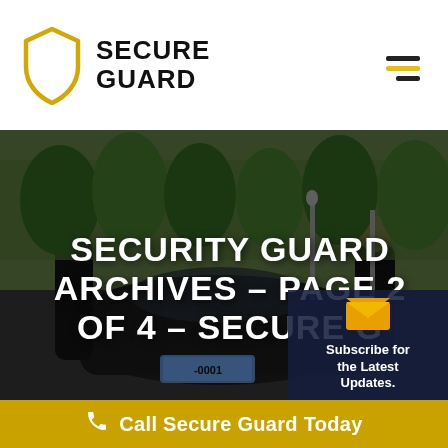[Figure (logo): SecureGuard logo: gold shield outline on left, bold black text SECURE GUARD on right]
[Figure (photo): Two security guards in black suits flanking a black sedan in a formal outdoor setting with green trimmed hedges and lamp posts. White bold text overlay reads: SECURITY GUARD ARCHIVES - PAGE 2 OF 4 - SECURE G. A dark navy subscribe box in bottom right with envelope icon and text Subscribe for the Latest Updates.]
Call Secure Guard Today